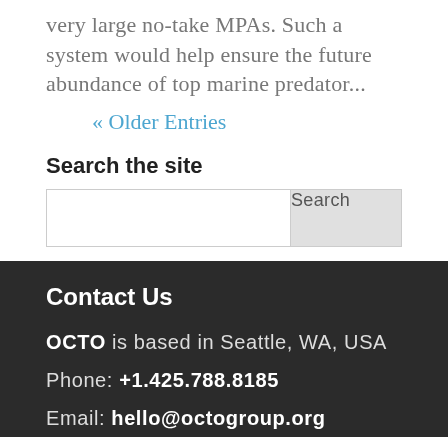very large no-take MPAs. Such a system would help ensure the future abundance of top marine predator...
« Older Entries
Search the site
Search
Contact Us
OCTO is based in Seattle, WA, USA
Phone: +1.425.788.8185
Email: hello@octogroup.org